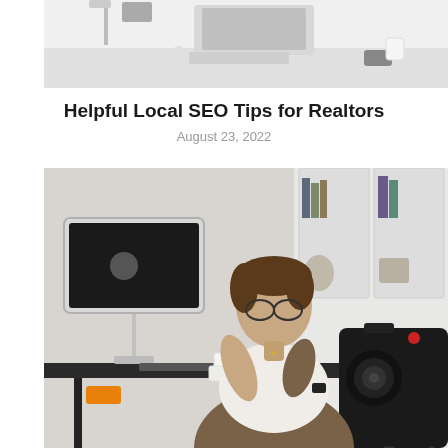[Figure (photo): Top partial photo showing a modern white desk with a monitor, keyboard, lamp, and phone in a bright office setting]
Helpful Local SEO Tips for Realtors
August 23, 2022
[Figure (photo): Woman with short brown hair and glasses sitting at a black desk with an iMac computer, holding keys and looking at a camera on a tripod. Notebooks, phone, and other items on the desk. White cabinet with books in background.]